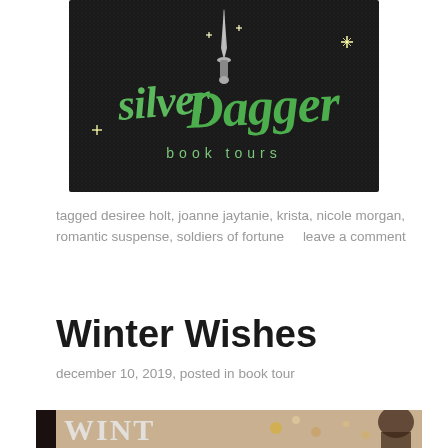[Figure (logo): Silver Dagger Book Tours logo — dark/black background with a silver dagger and green script text reading 'silver Dagger book tours']
tagged desiree holt, joanne jaytanie, krista, nicole morgan, romantic suspense, soldiers of fortune     leave a comment
Winter Wishes
december 10, 2019, posted in book tour
[Figure (photo): Partial view of a book cover for 'Winter Wishes' — shows a woman and decorative winter/jewel elements]